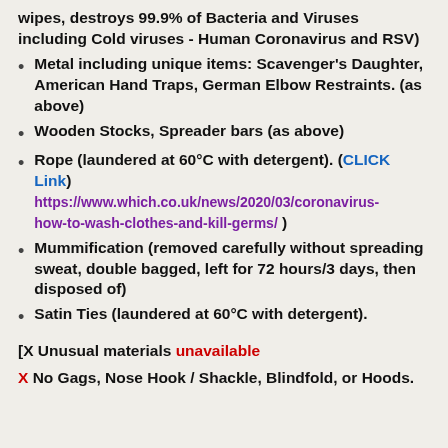wipes, destroys 99.9% of Bacteria and Viruses including Cold viruses - Human Coronavirus and RSV)
Metal including unique items: Scavenger's Daughter, American Hand Traps, German Elbow Restraints. (as above)
Wooden Stocks, Spreader bars (as above)
Rope (laundered at 60°C with detergent). (CLICK Link) https://www.which.co.uk/news/2020/03/coronavirus-how-to-wash-clothes-and-kill-germs/ )
Mummification (removed carefully without spreading sweat, double bagged, left for 72 hours/3 days, then disposed of)
Satin Ties (laundered at 60°C with detergent).
[X Unusual materials unavailable
X No Gags, Nose Hook / Shackle, Blindfold, or Hoods.